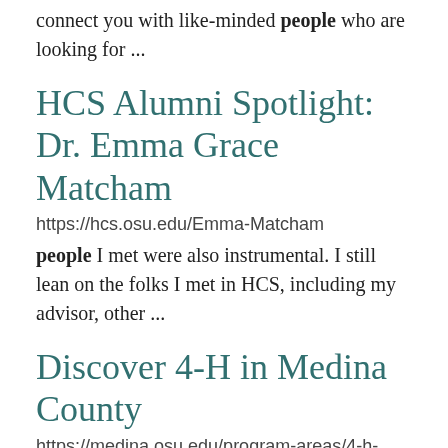connect you with like-minded people who are looking for ...
HCS Alumni Spotlight: Dr. Emma Grace Matcham
https://hcs.osu.edu/Emma-Matcham
people I met were also instrumental. I still lean on the folks I met in HCS, including my advisor, other ...
Discover 4-H in Medina County
https://medina.osu.edu/program-areas/4-h-youth-development/discover-4-h-medina-county
The purpose of 4-H is to foster skill development in young people. Youth are